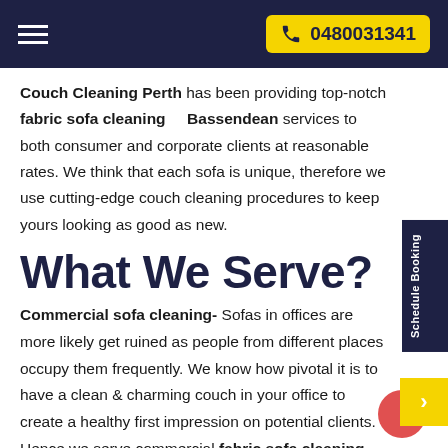0480031341
Couch Cleaning Perth has been providing top-notch fabric sofa cleaning    Bassendean services to both consumer and corporate clients at reasonable rates. We think that each sofa is unique, therefore we use cutting-edge couch cleaning procedures to keep yours looking as good as new.
What We Serve?
Commercial sofa cleaning- Sofas in offices are more likely get ruined as people from different places occupy them frequently. We know how pivotal it is to have a clean & charming couch in your office to create a healthy first impression on potential clients. Hence we serve commercial fabric sofa cleaning services Bassendean to all kinds of entrepreneurs helping them create a healthy & peaceful workspace for clients as well as employees.